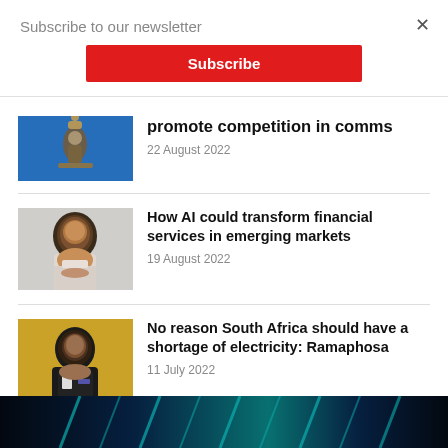Subscribe to our newsletter
×
Subscribe
promote competition in comms
22 August 2022
[Figure (photo): Person holding trophy against blue sky background]
How AI could transform financial services in emerging markets
19 August 2022
[Figure (photo): Smiling man portrait on light gray background]
No reason South Africa should have a shortage of electricity: Ramaphosa
11 July 2022
[Figure (photo): Man in suit on gold/yellow background]
[Figure (photo): Dark teal/blue abstract strip at bottom of page]